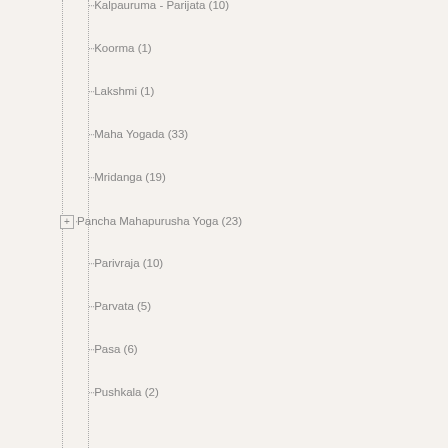Kalpauruma - Parijata (10)
Koorma (1)
Lakshmi (1)
Maha Yogada (33)
Mridanga (19)
Pancha Mahapurusha Yoga (23)
Parivraja (10)
Parvata (5)
Pasa (6)
Pushkala (2)
Raja - Dharmakarmadhipati (22)
Raja - Lakshmi (24)
Raja Sambandha (65)
Raja Yoga (68)
Sadhu (16)
Sankha (24)
Sarala (10)
Saraswati (13)
Soola (5)
Subha (6)
Taparui (13)